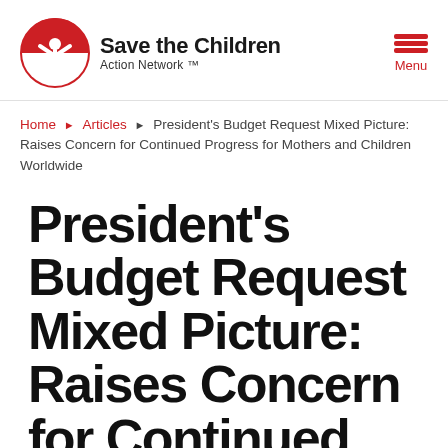[Figure (logo): Save the Children Action Network logo with red circular figure icon and organization name]
Home ▶ Articles ▶ President's Budget Request Mixed Picture: Raises Concern for Continued Progress for Mothers and Children Worldwide
President's Budget Request Mixed Picture: Raises Concern for Continued Progress